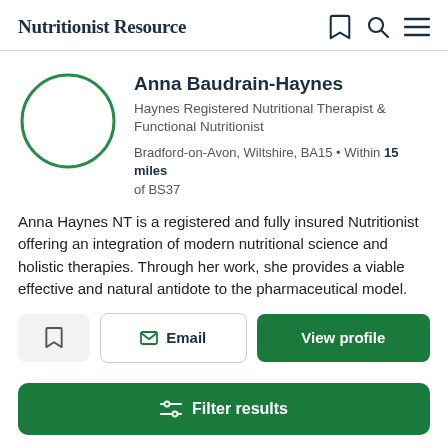Nutritionist Resource
Anna Baudrain-Haynes
Haynes Registered Nutritional Therapist & Functional Nutritionist
Bradford-on-Avon, Wiltshire, BA15 • Within 15 miles of BS37
Anna Haynes NT is a registered and fully insured Nutritionist offering an integration of modern nutritional science and holistic therapies. Through her work, she provides a viable effective and natural antidote to the pharmaceutical model.
Email
View profile
Filter results